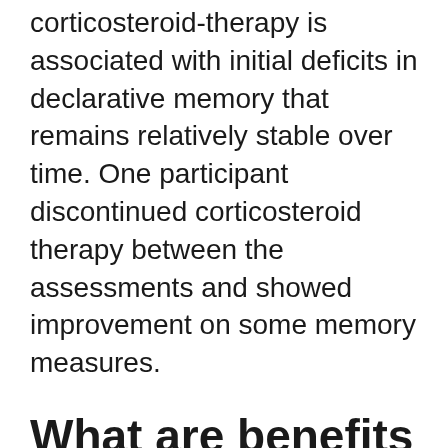corticosteroid-therapy is associated with initial deficits in declarative memory that remains relatively stable over time. One participant discontinued corticosteroid therapy between the assessments and showed improvement on some memory measures.
What are benefits of bodybuilding?
Bodybuilding, weight training and aerobic exercise increase self-esteem, improve your health and body, lift your mood, reduce stress and frustration, improve your sleeping patterns, distract your mind from worries and difficult life events and situations, help you gain control of your life, body and mind.